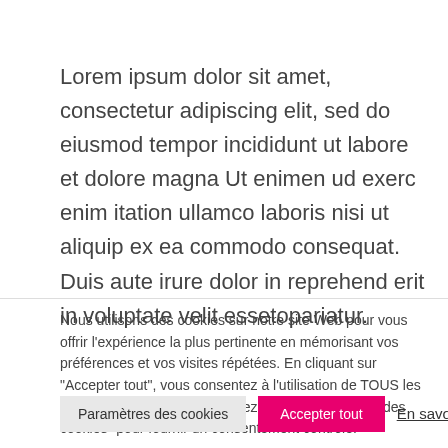Lorem ipsum dolor sit amet, consectetur adipiscing elit, sed do eiusmod tempor incididunt ut labore et dolore magna Ut enimen ud exerc enim itation ullamco laboris nisi ut aliquip ex ea commodo consequat. Duis aute irure dolor in reprehend erit in voluptate velit essetopariatur.
Nous utilisons des cookies sur notre site Web pour vous offrir l'expérience la plus pertinente en mémorisant vos préférences et vos visites répétées. En cliquant sur "Accepter tout", vous consentez à l'utilisation de TOUS les cookies. Toutefois, vous pouvez visiter "Paramètres des cookies" pour fournir un consentement contrôlé.
Paramètres des cookies
Accepter tout
En savoir plus